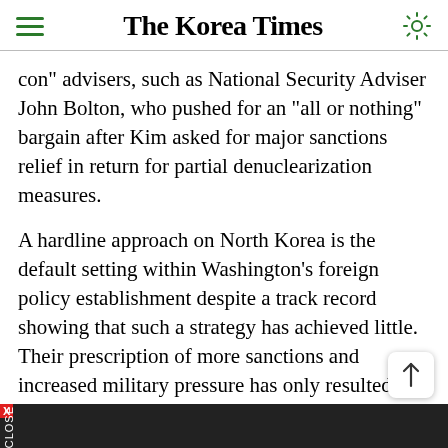The Korea Times
con" advisers, such as National Security Adviser John Bolton, who pushed for an "all or nothing" bargain after Kim asked for major sanctions relief in return for partial denuclearization measures.
A hardline approach on North Korea is the default setting within Washington's foreign policy establishment despite a track record showing that such a strategy has achieved little. Their prescription of more sanctions and increased military pressure has only resulted in providing a rationale for Pyongyang to bolster its nuclear and missile arsenal.
Their justification for favoring a hawkish position is